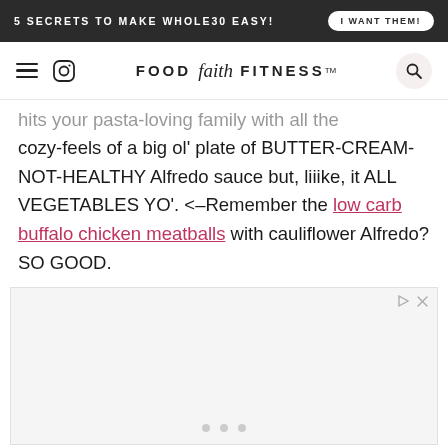5 SECRETS TO MAKE WHOLE30 EASY! | I WANT THEM!
FOOD faith FITNESS™
hits your pasta-loving family with all the cozy-feels of a big ol' plate of BUTTER-CREAM-NOT-HEALTHY Alfredo sauce but, liiike, it ALL VEGETABLES YO'. <-Remember the low carb buffalo chicken meatballs with cauliflower Alfredo? SO GOOD.
[Figure (other): Advertisement placeholder box with play/close controls and navigation dots]